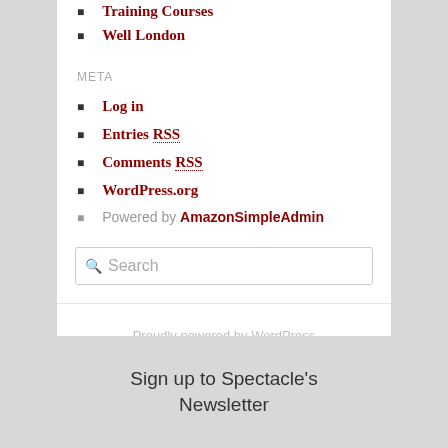Training Courses
Well London
META
Log in
Entries RSS
Comments RSS
WordPress.org
Powered by AmazonSimpleAdmin
Search
Proudly powered by WordPress
Sign up to Spectacle's Newsletter